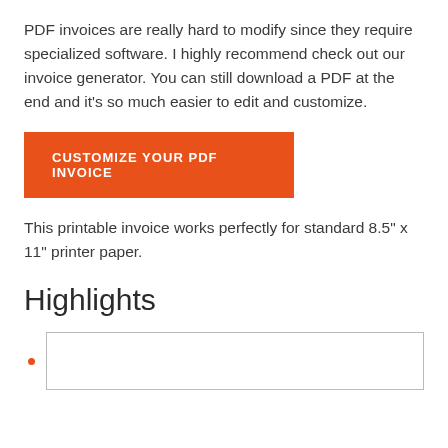PDF invoices are really hard to modify since they require specialized software. I highly recommend check out our invoice generator. You can still download a PDF at the end and it's so much easier to edit and customize.
[Figure (other): Orange call-to-action button labeled CUSTOMIZE YOUR PDF INVOICE]
This printable invoice works perfectly for standard 8.5" x 11" printer paper.
Highlights
[Figure (other): Orange bullet point with partial rectangular outlined box below the Highlights section header]